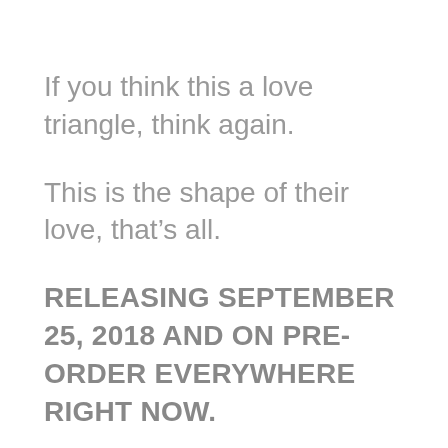If you think this a love triangle, think again.
This is the shape of their love, that’s all.
RELEASING SEPTEMBER 25, 2018 AND ON PRE-ORDER EVERYWHERE RIGHT NOW.